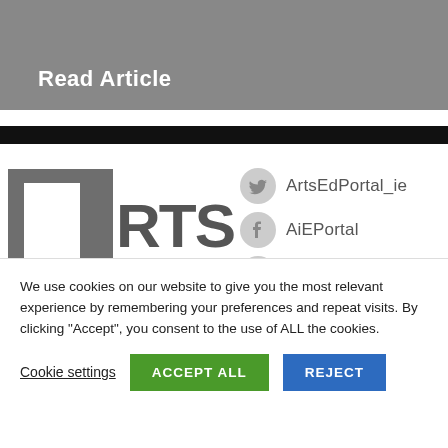Read Article
[Figure (logo): Arts In Education Portal logo with square icon and text 'RTS IN' partially visible]
ArtsEdPortal_ie  AiEPortal  aieportal (social media handles with icons)
We use cookies on our website to give you the most relevant experience by remembering your preferences and repeat visits. By clicking “Accept”, you consent to the use of ALL the cookies.
Cookie settings  ACCEPT ALL  REJECT